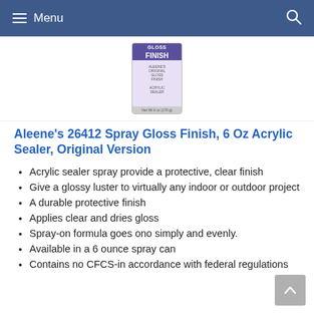Menu
[Figure (photo): Spray can of Aleene's Gloss Finish acrylic sealer product, purple label]
Aleene's 26412 Spray Gloss Finish, 6 Oz Acrylic Sealer, Original Version
Acrylic sealer spray provide a protective, clear finish
Give a glossy luster to virtually any indoor or outdoor project
A durable protective finish
Applies clear and dries gloss
Spray-on formula goes ono simply and evenly.
Available in a 6 ounce spray can
Contains no CFCS-in accordance with federal regulations